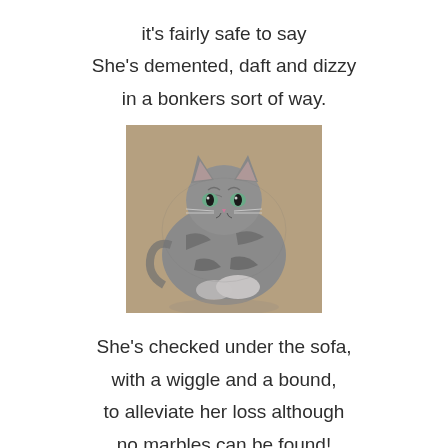it's fairly safe to say
She's demented, daft and dizzy
in a bonkers sort of way.
[Figure (photo): A fluffy grey tabby kitten sitting and looking at the camera with an intense expression, on a tan/beige surface.]
She's checked under the sofa,
with a wiggle and a bound,
to alleviate her loss although
no marbles can be found!